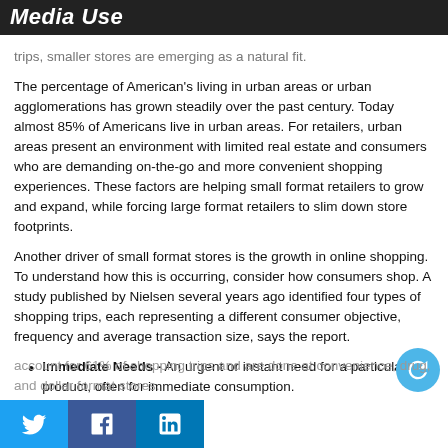Media Use
trips, smaller stores are emerging as a natural fit.
The percentage of American's living in urban areas or urban agglomerations has grown steadily over the past century. Today almost 85% of Americans live in urban areas. For retailers, urban areas present an environment with limited real estate and consumers who are demanding on-the-go and more convenient shopping experiences. These factors are helping small format retailers to grow and expand, while forcing large format retailers to slim down store footprints.
Another driver of small format stores is the growth in online shopping. To understand how this is occurring, consider how consumers shop. A study published by Nielsen several years ago identified four types of shopping trips, each representing a different consumer objective, frequency and average transaction size, says the report.
Immediate Needs - An urgent or instant need for a particular product, often for immediate consumption.
account for 61% of shopping trips and are done at convenience, drug, and dollar format stores.
Social share buttons: Twitter, Facebook, LinkedIn